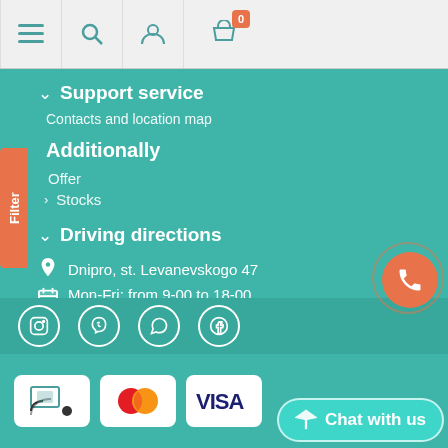[Figure (screenshot): Mobile website navigation bar with menu, search, user, and cart icons]
Support service
Contacts and location map
Additionally
Offer
Stocks
Driving directions
Dnipro, st. Levanevskogo 47
Mon-Fri: from 9-00 to 18-00
Sat,Sun: Day off
+38 (066) 345 68 68
zakaz@confiseur.net
[Figure (infographic): Social media icons: Instagram, Viber, WhatsApp, Facebook]
[Figure (infographic): Payment method logos: Chromecast/screen mirroring, Mastercard, Visa]
Chat with us